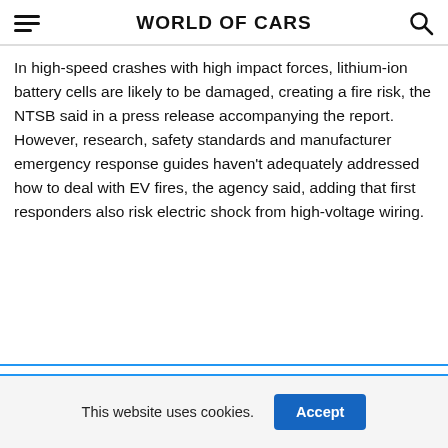WORLD OF CARS
In high-speed crashes with high impact forces, lithium-ion battery cells are likely to be damaged, creating a fire risk, the NTSB said in a press release accompanying the report. However, research, safety standards and manufacturer emergency response guides haven't adequately addressed how to deal with EV fires, the agency said, adding that first responders also risk electric shock from high-voltage wiring.
This website uses cookies.  Accept